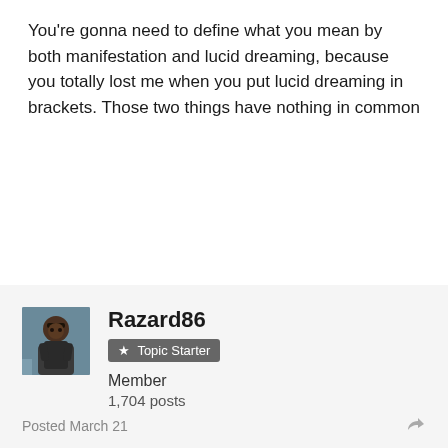You're gonna need to define what you mean by both manifestation and lucid dreaming, because you totally lost me when you put lucid dreaming in brackets. Those two things have nothing in common
Razard86
Topic Starter
Member
1,704 posts
Posted March 21